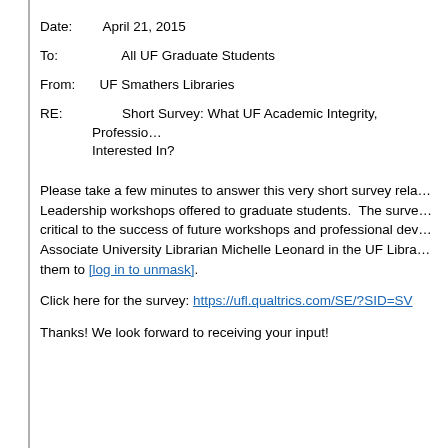Date:    April 21, 2015
To:           All UF Graduate Students
From:   UF Smathers Libraries
RE:          Short Survey: What UF Academic Integrity, Professional Leadership workshops are you Interested In?
Please take a few minutes to answer this very short survey related to Academic Integrity and Leadership workshops offered to graduate students.  The survey results will be critical to the success of future workshops and professional development. It is sponsored by Associate University Librarian Michelle Leonard in the UF Libraries. Please direct questions about them to [log in to unmask].
Click here for the survey: https://ufl.qualtrics.com/SE/?SID=SV...
Thanks! We look forward to receiving your input!